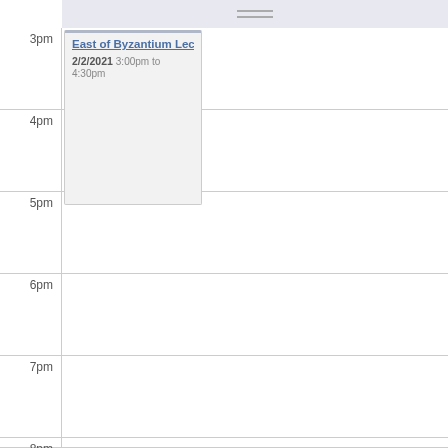[Figure (screenshot): Weekly calendar view showing time slots from 3pm to 8pm. A single event 'East of Byzantium Lectu' is shown at 3pm on 2/2/2021 from 3:00pm to 4:30pm. Remaining time slots (4pm, 5pm, 6pm, 7pm, 8pm) are empty.]